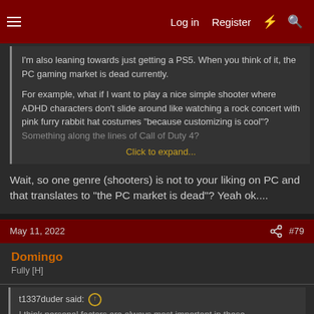Log in  Register  #  Search
I'm also leaning towards just getting a PS5. When you think of it, the PC gaming market is dead currently.

For example, what if I want to play a nice simple shooter where ADHD characters don't slide around like watching a rock concert with pink furry rabbit hat costumes "because customizing is cool"? Something along the lines of Call of Duty 4?
Click to expand...
Wait, so one genre (shooters) is not to your liking on PC and that translates to "the PC market is dead"? Yeah ok....
May 11, 2022  #79
Domingo
Fully [H]
t1337duder said:
I think personal factors are always most important in these